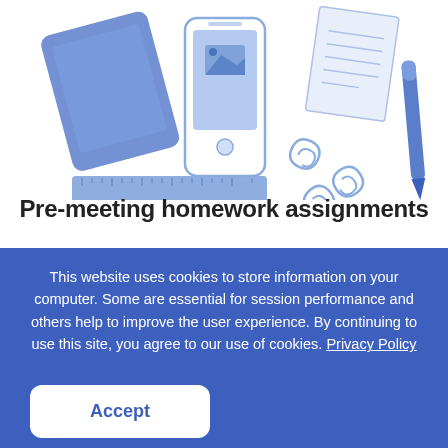[Figure (illustration): Flat-style illustration of school/office supplies: a blue tablet/sketchpad top-left, a smartphone with image placeholder in center, sheets of paper top-right, a blue ruler bottom-left, paper clips, and a blue pen/marker on the right side.]
Pre-meeting homework assignments
This website uses cookies to store information on your computer. Some are essential for session performance and others help to improve the user experience. By continuing to use this site, you agree to our use of cookies. Privacy Policy
Accept